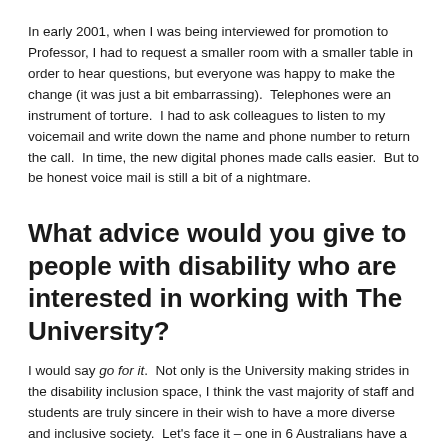In early 2001, when I was being interviewed for promotion to Professor, I had to request a smaller room with a smaller table in order to hear questions, but everyone was happy to make the change (it was just a bit embarrassing).  Telephones were an instrument of torture.  I had to ask colleagues to listen to my voicemail and write down the name and phone number to return the call.  In time, the new digital phones made calls easier.  But to be honest voice mail is still a bit of a nightmare.
What advice would you give to people with disability who are interested in working with The University?
I would say go for it.  Not only is the University making strides in the disability inclusion space, I think the vast majority of staff and students are truly sincere in their wish to have a more diverse and inclusive society.  Let's face it – one in 6 Australians have a hearing impairment and all of us will be disabled in some way as time goes by.